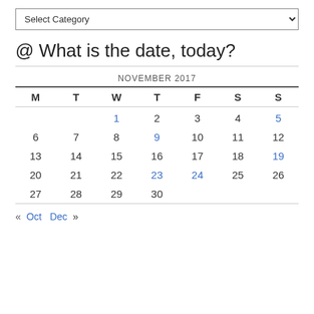Select Category (dropdown)
@ What is the date, today?
| M | T | W | T | F | S | S |
| --- | --- | --- | --- | --- | --- | --- |
|  |  | 1 | 2 | 3 | 4 | 5 |
| 6 | 7 | 8 | 9 | 10 | 11 | 12 |
| 13 | 14 | 15 | 16 | 17 | 18 | 19 |
| 20 | 21 | 22 | 23 | 24 | 25 | 26 |
| 27 | 28 | 29 | 30 |  |  |  |
« Oct   Dec »